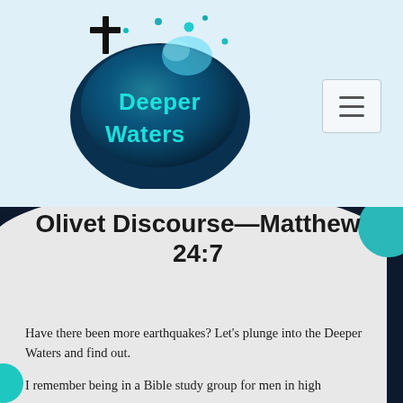[Figure (logo): Deeper Waters logo — a blob of dark blue water with a cross above it and the words 'Deeper Waters' written in teal bubble letters]
Olivet Discourse—Matthew 24:7
Have there been more earthquakes? Let's plunge into the Deeper Waters and find out.
I remember being in a Bible study group for men in high